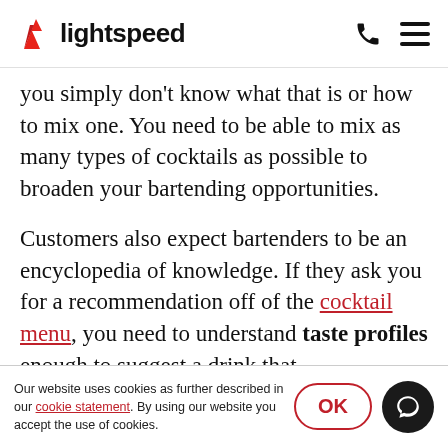lightspeed
you simply don't know what that is or how to mix one. You need to be able to mix as many types of cocktails as possible to broaden your bartending opportunities.
Customers also expect bartenders to be an encyclopedia of knowledge. If they ask you for a recommendation off of the cocktail menu, you need to understand taste profiles enough to suggest a drink that
Our website uses cookies as further described in our cookie statement. By using our website you accept the use of cookies.